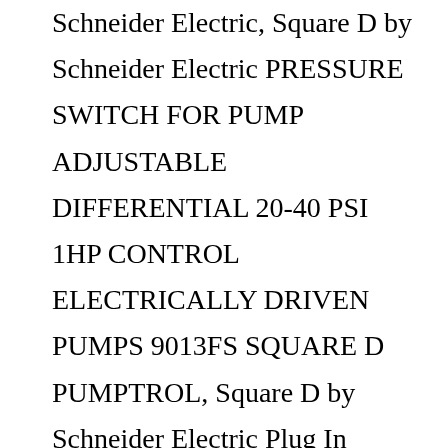Schneider Electric, Square D by Schneider Electric PRESSURE SWITCH FOR PUMP ADJUSTABLE DIFFERENTIAL 20-40 PSI 1HP CONTROL ELECTRICALLY DRIVEN PUMPS 9013FS SQUARE D PUMPTROL, Square D by Schneider Electric Plug In Circuit Breaker 60A. Do not miss out on all the options available! It addresses homes, buildings, data centers, infrastructure and industries, by combining energy technologies, real-time automation, software and services. Manila, Philippines – The COVID-19